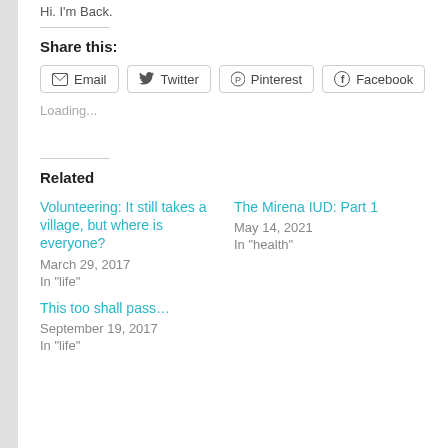Hi. I'm Back.
Share this:
Email  Twitter  Pinterest  Facebook
Loading...
Related
Volunteering: It still takes a village, but where is everyone?
March 29, 2017
In "life"
The Mirena IUD: Part 1
May 14, 2021
In "health"
This too shall pass...
September 19, 2017
In "life"